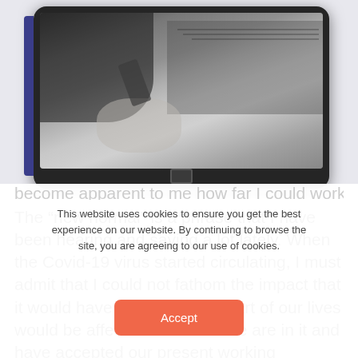[Figure (photo): A grayscale photo of a tablet device showing a person working at a desk with a laptop, phone and other items. A dark blue bar is visible on the left side of the tablet.]
The “new normal” is a phrase that I have been hearing and saying a lot lately. When the Covid-19 virus started circulating, I must admit that I could not fathom the impact that it would have and how each part of our lives would be affected. Now that we are in it and have accepted our present working conditions, it has
This website uses cookies to ensure you get the best experience on our website. By continuing to browse the site, you are agreeing to our use of cookies.